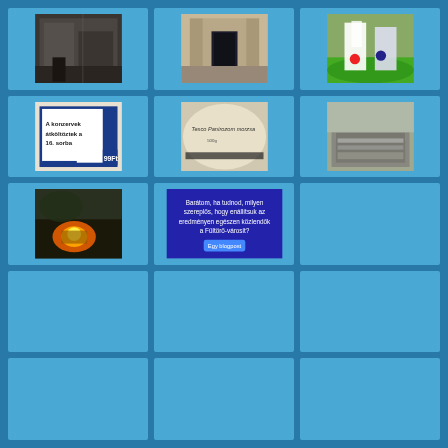[Figure (photo): Grid of thumbnail images on a blue background - row 1: indoor scene, building entrance, soccer players; row 2: store sign in Hungarian, close-up sign, concrete structure; row 3: fire/burning scene, blue presentation slide, empty blue cell; rows 4-5: mostly empty blue cells]
[Figure (photo): Indoor corridor or hallway scene]
[Figure (photo): Building entrance/doorway]
[Figure (photo): Soccer players on field]
[Figure (photo): Hungarian store sign: A konzervek átköltöztek a 16. sorba, 99Ft]
[Figure (photo): Sign reading: Tesco Panírozom morzsa]
[Figure (photo): Concrete structure or bridge]
[Figure (photo): Fire/burning scene outdoors at night]
[Figure (screenshot): Blue presentation slide with white text in Hungarian]
[Figure (photo): Empty blue cell placeholder]
[Figure (photo): Empty blue cell]
[Figure (photo): Empty blue cell]
[Figure (photo): Empty blue cell]
[Figure (photo): Empty blue cell]
[Figure (photo): Empty blue cell]
[Figure (photo): Empty blue cell (partial, bottom row)]